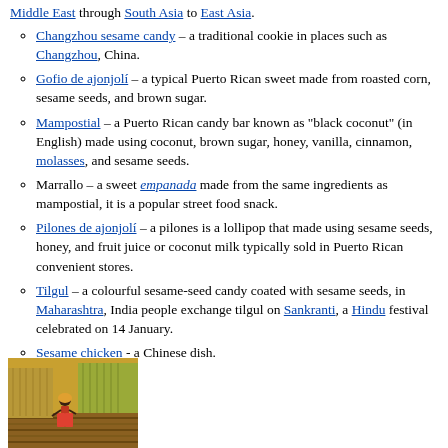Middle East through South Asia to East Asia.
Changzhou sesame candy – a traditional cookie in places such as Changzhou, China.
Gofio de ajonjolí – a typical Puerto Rican sweet made from roasted corn, sesame seeds, and brown sugar.
Mampostial – a Puerto Rican candy bar known as "black coconut" (in English) made using coconut, brown sugar, honey, vanilla, cinnamon, molasses, and sesame seeds.
Marrallo – a sweet empanada made from the same ingredients as mampostial, it is a popular street food snack.
Pilones de ajonjolí – a pilones is a lollipop that made using sesame seeds, honey, and fruit juice or coconut milk typically sold in Puerto Rican convenient stores.
Tilgul – a colourful sesame-seed candy coated with sesame seeds, in Maharashtra, India people exchange tilgul on Sankranti, a Hindu festival celebrated on 14 January.
Sesame chicken - a Chinese dish.
[Figure (photo): A person harvesting sesame or similar crops in a field, rows of harvested stalks bundled on the ground.]